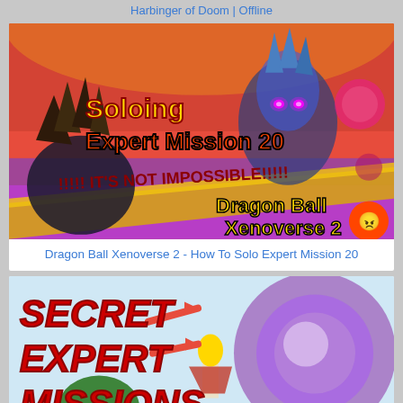Harbinger of Doom | Offline
[Figure (screenshot): Video thumbnail for Dragon Ball Xenoverse 2 showing a character with blue hair and glowing pink eyes, with text overlay: 'Soloing Expert Mission 20' and 'IT'S NOT IMPOSSIBLE! Dragon Ball Xenoverse 2']
Dragon Ball Xenoverse 2 - How To Solo Expert Mission 20
[Figure (screenshot): Video thumbnail showing text 'SECRET EXPERT MISSIONS' with red arrows pointing right, and a character with blonde hair and red cape in front of a purple glowing background]